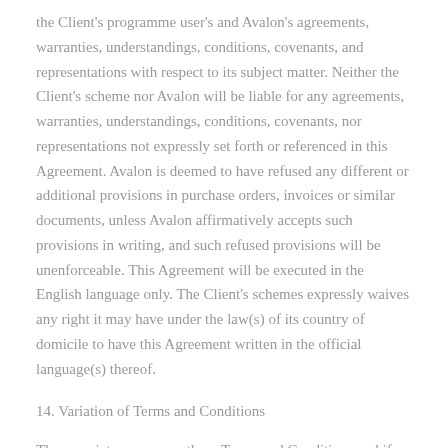the Client's programme user's and Avalon's agreements, warranties, understandings, conditions, covenants, and representations with respect to its subject matter. Neither the Client's scheme nor Avalon will be liable for any agreements, warranties, understandings, conditions, covenants, nor representations not expressly set forth or referenced in this Agreement. Avalon is deemed to have refused any different or additional provisions in purchase orders, invoices or similar documents, unless Avalon affirmatively accepts such provisions in writing, and such refused provisions will be unenforceable. This Agreement will be executed in the English language only. The Client's schemes expressly waives any right it may have under the law(s) of its country of domicile to have this Agreement written in the official language(s) thereof.
14. Variation of Terms and Conditions
The proprietor may vary these Terms and Conditions and if Avalon sends the Client or displays a revised version of